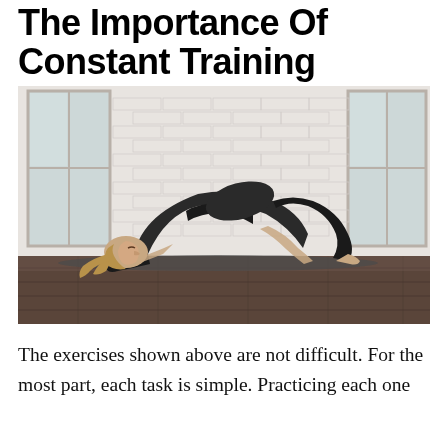The Importance Of Constant Training
[Figure (photo): A woman in black athletic wear performing a bridge/wheel yoga pose on a mat in a bright studio with white brick walls and wooden floor.]
The exercises shown above are not difficult. For the most part, each task is simple. Practicing each one